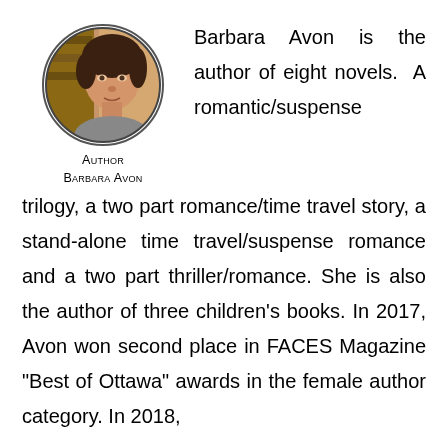[Figure (photo): Circular portrait photo of Author Barbara Avon]
Author
Barbara Avon
Barbara Avon is the author of eight novels. A romantic/suspense trilogy, a two part romance/time travel story, a stand-alone time travel/suspense romance and a two part thriller/romance. She is also the author of three children’s books. In 2017, Avon won second place in FACES Magazine “Best of Ottawa” awards in the female author category. In 2018,